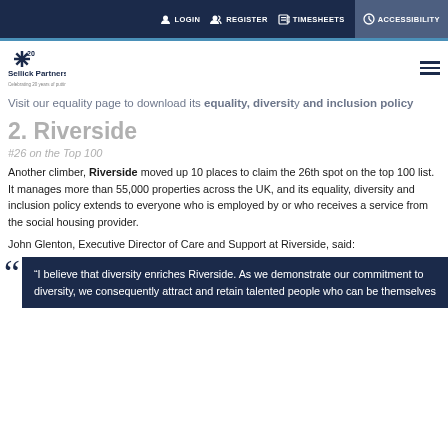LOGIN  REGISTER  TIMESHEETS  ACCESSIBILITY
[Figure (logo): Sellick Partnership logo with 20th anniversary star mark and tagline 'Celebrating 20 years of putting people first']
Visit our equality page to download its equality, diversity and inclusion policy
2. Riverside
#26 on the Top 100
Another climber, Riverside moved up 10 places to claim the 26th spot on the top 100 list. It manages more than 55,000 properties across the UK, and its equality, diversity and inclusion policy extends to everyone who is employed by or who receives a service from the social housing provider.
John Glenton, Executive Director of Care and Support at Riverside, said:
“I believe that diversity enriches Riverside. As we demonstrate our commitment to diversity, we consequently attract and retain talented people who can be themselves